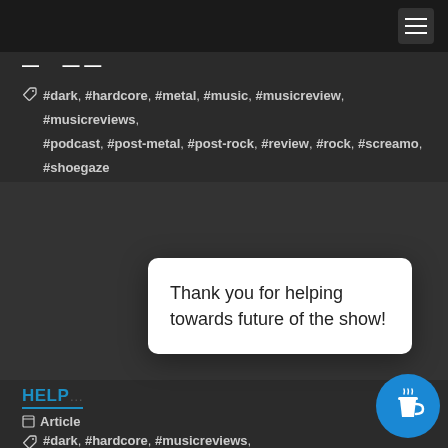Navigation bar with hamburger menu
#dark, #hardcore, #metal, #music, #musicreview, #musicreviews, #podcast, #post-metal, #post-rock, #review, #rock, #screamo, #shoegaze #emo
[Figure (other): Advertisement or content area (dark gray rectangle)]
Thank you for helping towards future of the show!
HELP
Article
#dark, #musicreviews,